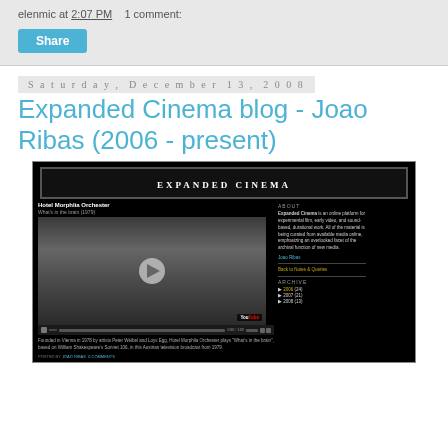elenmic at 2:07 PM    1 comment:
Share
Saturday, December 13, 2008
Expanded Cinema blog - Joao Ribas (2006 - present)
[Figure (screenshot): Screenshot of the Expanded Cinema blog website showing a blog post titled 'Hotel Morphlia Orchester' with a YouTube video embed, and a sidebar with About section and Archive links for 2006 (24), 2007 (21), 2008 (13).]